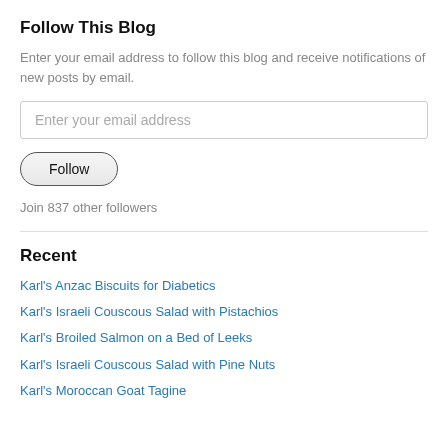Follow This Blog
Enter your email address to follow this blog and receive notifications of new posts by email.
Enter your email address
Follow
Join 837 other followers
Recent
Karl's Anzac Biscuits for Diabetics
Karl's Israeli Couscous Salad with Pistachios
Karl's Broiled Salmon on a Bed of Leeks
Karl's Israeli Couscous Salad with Pine Nuts
Karl's Moroccan Goat Tagine